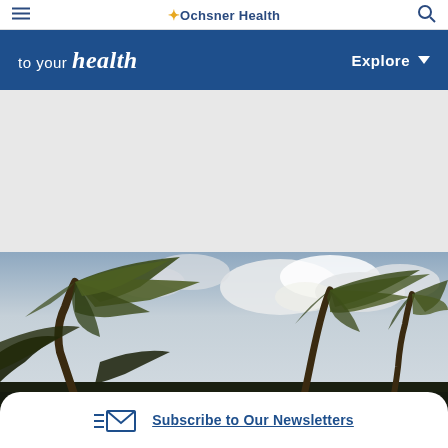Ochsner Health
[Figure (logo): to your health logo with Explore navigation button on blue header bar]
[Figure (photo): Palm trees bending in strong wind against cloudy sky, hurricane or storm scene]
Subscribe to Our Newsletters